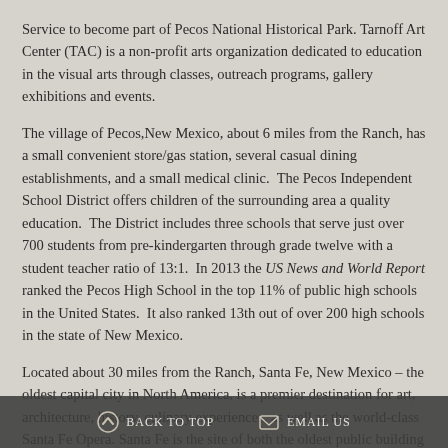Service to become part of Pecos National Historical Park. Tarnoff Art Center (TAC) is a non-profit arts organization dedicated to education in the visual arts through classes, outreach programs, gallery exhibitions and events.
The village of Pecos,New Mexico, about 6 miles from the Ranch, has a small convenient store/gas station, several casual dining establishments, and a small medical clinic.  The Pecos Independent School District offers children of the surrounding area a quality education.  The District includes three schools that serve just over 700 students from pre-kindergarten through grade twelve with a student teacher ratio of 13:1.  In 2013 the US News and World Report ranked the Pecos High School in the top 11% of public high schools in the United States.  It also ranked 13th out of over 200 high schools in the state of New Mexico.
Located about 30 miles from the Ranch, Santa Fe, New Mexico – the oldest capital city in North America, is a premier destination for art, architecture, history, culinary experiences, as well as the world-class Santa Fe Opera. Santa Fe is the site of both the oldest public building in America – the Palace of the
BACK TO TOP    EMAIL US